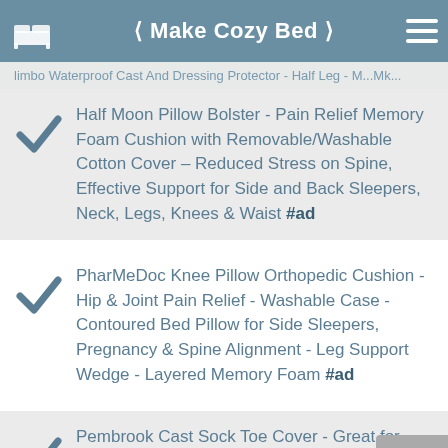< Make Cozy Bed >
Half Moon Pillow Bolster - Pain Relief Memory Foam Cushion with Removable/Washable Cotton Cover – Reduced Stress on Spine, Effective Support for Side and Back Sleepers, Neck, Legs, Knees & Waist #ad
PharMeDoc Knee Pillow Orthopedic Cushion - Hip & Joint Pain Relief - Washable Case - Contoured Bed Pillow for Side Sleepers, Pregnancy & Spine Alignment - Leg Support Wedge - Layered Memory Foam #ad
Pembrook Cast Sock Toe Cover - Great for Leg, Foot and Ankle Casts. #ad
Large Reusable Gel Ice Pack with Wrap by TheraBAO - Hot & Cold Therapy for Hip, Shoulder